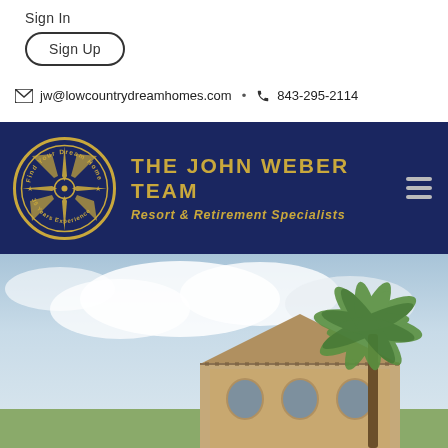Sign In
Sign Up
jw@lowcountrydreamhomes.com  •  843-295-2114
[Figure (logo): The John Weber Team logo on navy background — circular gold compass emblem with text 'Find Your Dream Home' and '35 Years Experience', beside gold block text 'THE JOHN WEBER TEAM' and italic 'Resort & Retirement Specialists']
[Figure (photo): Exterior photo of a resort-style home with a pyramidal roof and palm trees against a blue sky with clouds]